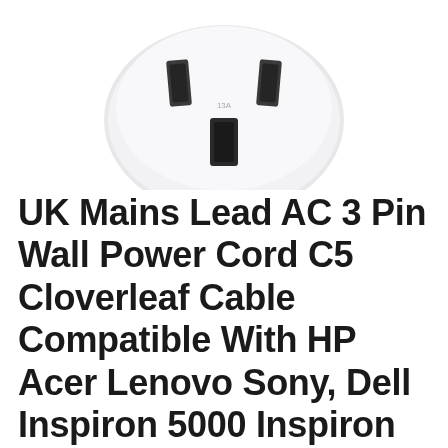[Figure (photo): A white UK 3-pin mains plug photographed from above, showing the three rectangular metal pins (two smaller horizontal pins at top and one larger vertical earth pin), on a white background. The plug is partially cropped at the top of the image.]
UK Mains Lead AC 3 Pin Wall Power Cord C5 Cloverleaf Cable Compatible With HP Acer Lenovo Sony, Dell Inspiron 5000 Inspiron 3900 Inspiron 7500, Samsung Chron...